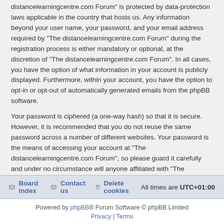distancelearningcentre.com Forum" is protected by data-protection laws applicable in the country that hosts us. Any information beyond your user name, your password, and your email address required by "The distancelearningcentre.com Forum" during the registration process is either mandatory or optional, at the discretion of "The distancelearningcentre.com Forum". In all cases, you have the option of what information in your account is publicly displayed. Furthermore, within your account, you have the option to opt-in or opt-out of automatically generated emails from the phpBB software.
Your password is ciphered (a one-way hash) so that it is secure. However, it is recommended that you do not reuse the same password across a number of different websites. Your password is the means of accessing your account at "The distancelearningcentre.com Forum", so please guard it carefully and under no circumstance will anyone affiliated with "The distancelearningcentre.com Forum", phpBB or another 3rd party, legitimately ask you for your password. Should you forget your password for your account, you can use the "I forgot my password" feature provided by the phpBB software. This process will ask you to submit your user name and your email, then the phpBB software will generate a new password to reclaim your account.
Board index | Contact us | Delete cookies | All times are UTC+01:00
Powered by phpBB® Forum Software © phpBB Limited | Privacy | Terms